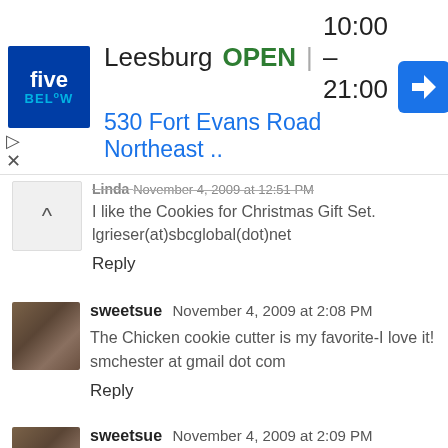[Figure (infographic): Five Below store ad banner showing Leesburg location, OPEN status, hours 10:00-21:00, address 530 Fort Evans Road Northeast, with navigation arrow icon]
Linda November 4, 2009 at 12:51 PM
I like the Cookies for Christmas Gift Set.
lgrieser(at)sbcglobal(dot)net
Reply
sweetsue November 4, 2009 at 2:08 PM
The Chicken cookie cutter is my favorite-I love it!
smchester at gmail dot com
Reply
sweetsue November 4, 2009 at 2:09 PM
I follow on google friend connect.
smchester at gmail dot com